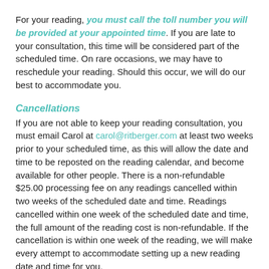For your reading, you must call the toll number you will be provided at your appointed time. If you are late to your consultation, this time will be considered part of the scheduled time. On rare occasions, we may have to reschedule your reading. Should this occur, we will do our best to accommodate you.
Cancellations
If you are not able to keep your reading consultation, you must email Carol at carol@ritberger.com at least two weeks prior to your scheduled time, as this will allow the date and time to be reposted on the reading calendar, and become available for other people. There is a non-refundable $25.00 processing fee on any readings cancelled within two weeks of the scheduled date and time. Readings cancelled within one week of the scheduled date and time, the full amount of the reading cost is non-refundable. If the cancellation is within one week of the reading, we will make every attempt to accommodate setting up a new reading date and time for you.